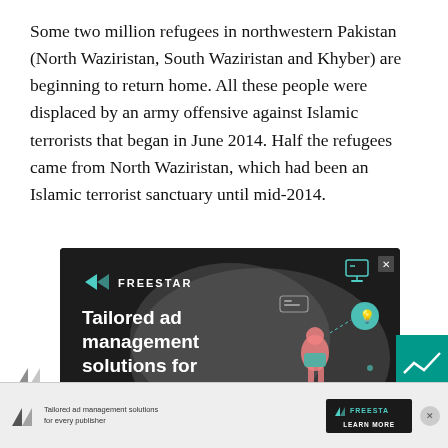Some two million refugees in northwestern Pakistan (North Waziristan, South Waziristan and Khyber) are beginning to return home. All these people were displaced by an army offensive against Islamic terrorists that began in June 2014. Half the refugees came from North Waziristan, which had been an Islamic terrorist sanctuary until mid-2014.
[Figure (screenshot): Freestar advertisement banner: dark background with illustrated figures and text 'Tailored ad management solutions for every publisher']
[Figure (screenshot): Secondary Freestar ad bar at the bottom with logo and 'LEARN MORE' button]